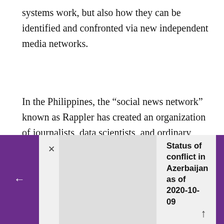systems work, but also how they can be identified and confronted via new independent media networks.
In the Philippines, the “social news network” known as Rappler has created an organization of journalists, data scientists, and ordinary users to track political campaigns that use trolls, fake “sock puppet” accounts, botnets, and other manipulation to stir up and direct fervent supporter groups.39 As
[Figure (infographic): A popup/modal bar at the bottom of the page with purple navigation arrows on left and right. Contains an 'x' close button, a grey image placeholder area, and bold text reading 'Status of conflict in Azerbaijan as of 2020-10-09' with an upward arrow.]